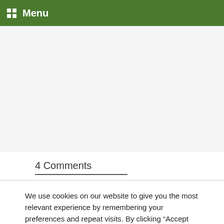Menu
4 Comments
We use cookies on our website to give you the most relevant experience by remembering your preferences and repeat visits. By clicking “Accept All”, you consent to the use of ALL the cookies. However, you may visit "Cookie Settings" to provide a controlled consent.
Cookie Settings | Accept All